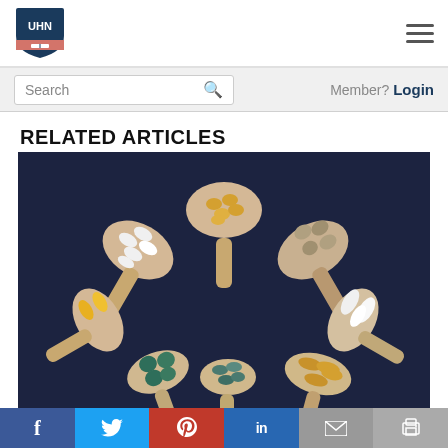UHN logo and navigation menu
Search | Member? Login
RELATED ARTICLES
[Figure (photo): Overhead view of seven wooden spoons arranged in a circle on a dark navy background, each containing different types of supplement capsules and tablets: white capsules, golden gel caps, beige/tan capsules, yellow capsules, white oval tablets, gold/amber capsules, teal/dark green tablets, and small dark teal capsules.]
Social share buttons: Facebook, Twitter, Pinterest, LinkedIn, Email, Print